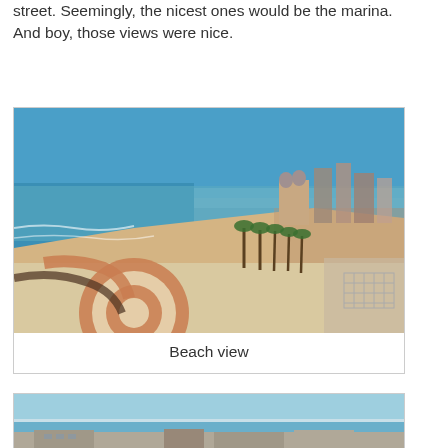street. Seemingly, the nicest ones would be the marina. And boy, those views were nice.
[Figure (photo): Aerial view of a beach with decorative patterned promenade in foreground, sandy beach and Mediterranean sea in background, palm trees and buildings visible along the shoreline.]
Beach view
[Figure (photo): Partial view of coastline with sea and sky, buildings visible at bottom.]